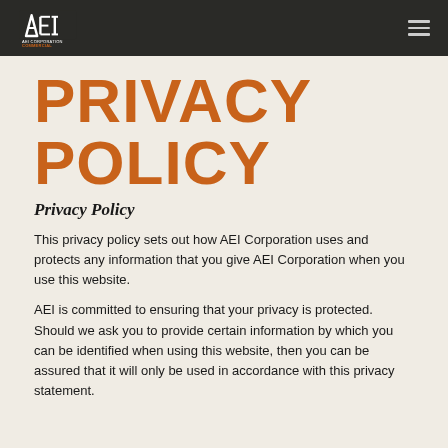AEI CORPORATION COMMERCIAL — navigation bar with logo and menu
PRIVACY POLICY
Privacy Policy
This privacy policy sets out how AEI Corporation uses and protects any information that you give AEI Corporation when you use this website.
AEI is committed to ensuring that your privacy is protected. Should we ask you to provide certain information by which you can be identified when using this website, then you can be assured that it will only be used in accordance with this privacy statement.